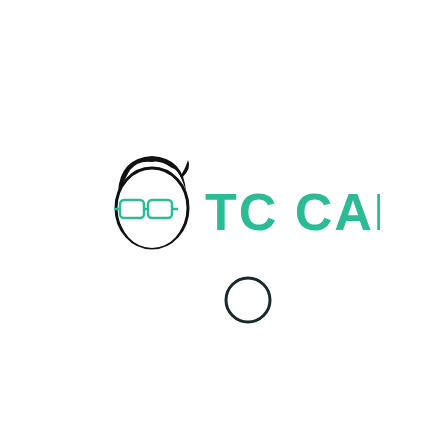[Figure (logo): TC Carl logo: a cartoon face with black hair and teal/green glasses outline on the left, followed by bold teal text 'TC CARL' on the right. Below the logo is a small circle outline in dark teal/near-black.]